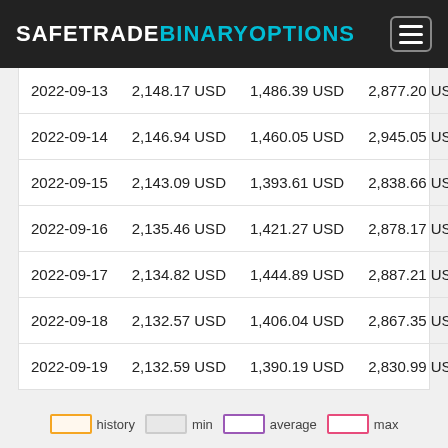SAFETRADEBINARYOPTIONS
| Date | Value | Min | Max |
| --- | --- | --- | --- |
| 2022-09-13 | 2,148.17 USD | 1,486.39 USD | 2,877.20 USD |
| 2022-09-14 | 2,146.94 USD | 1,460.05 USD | 2,945.05 USD |
| 2022-09-15 | 2,143.09 USD | 1,393.61 USD | 2,838.66 USD |
| 2022-09-16 | 2,135.46 USD | 1,421.27 USD | 2,878.17 USD |
| 2022-09-17 | 2,134.82 USD | 1,444.89 USD | 2,887.21 USD |
| 2022-09-18 | 2,132.57 USD | 1,406.04 USD | 2,867.35 USD |
| 2022-09-19 | 2,132.59 USD | 1,390.19 USD | 2,830.99 USD |
history   min   average   max